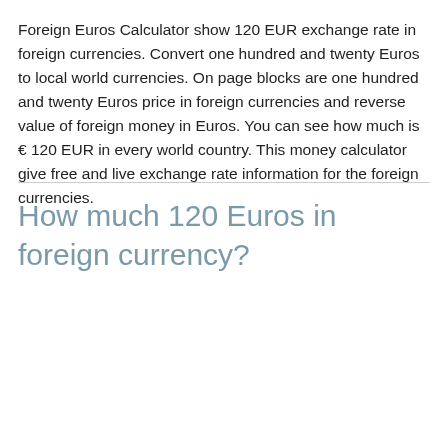Foreign Euros Calculator show 120 EUR exchange rate in foreign currencies. Convert one hundred and twenty Euros to local world currencies. On page blocks are one hundred and twenty Euros price in foreign currencies and reverse value of foreign money in Euros. You can see how much is € 120 EUR in every world country. This money calculator give free and live exchange rate information for the foreign currencies.
How much 120 Euros in foreign currency?